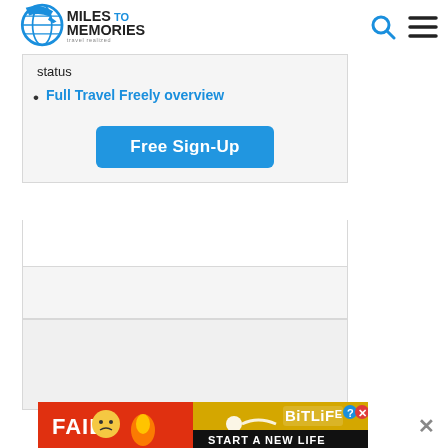[Figure (logo): Miles to Memories logo with globe and airplane icon, text 'MILES TO MEMORIES travel realized']
status
Full Travel Freely overview
[Figure (screenshot): Free Sign-Up blue button]
[Figure (photo): BitLife advertisement banner: FAIL cartoon with flame and sperm graphic, text 'BITLIFE START A NEW LIFE' with close X button]